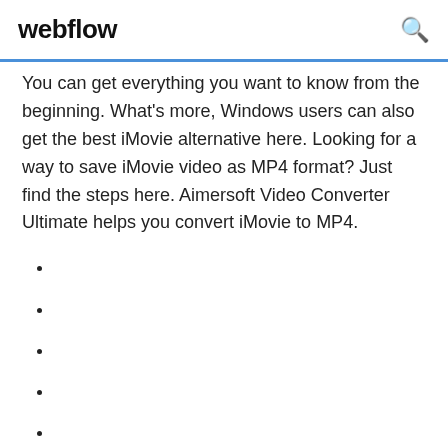webflow
You can get everything you want to know from the beginning. What’s more, Windows users can also get the best iMovie alternative here. Looking for a way to save iMovie video as MP4 format? Just find the steps here. Aimersoft Video Converter Ultimate helps you convert iMovie to MP4.
1771